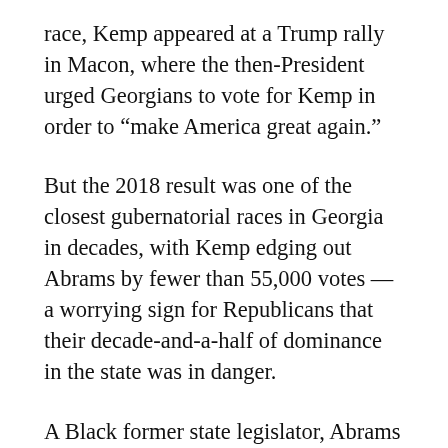race, Kemp appeared at a Trump rally in Macon, where the then-President urged Georgians to vote for Kemp in order to “make America great again.”
But the 2018 result was one of the closest gubernatorial races in Georgia in decades, with Kemp edging out Abrams by fewer than 55,000 votes — a worrying sign for Republicans that their decade-and-a-half of dominance in the state was in danger.
A Black former state legislator, Abrams improved on the previous Democratic nominee